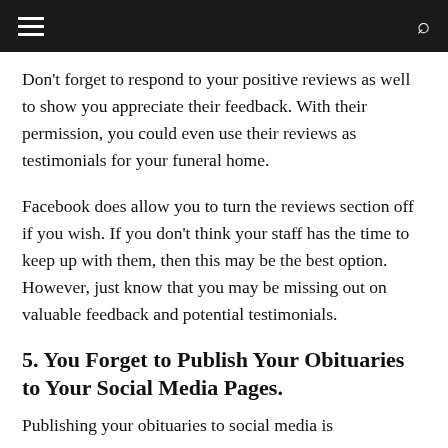navigation bar with hamburger menu and search icon
Don't forget to respond to your positive reviews as well to show you appreciate their feedback. With their permission, you could even use their reviews as testimonials for your funeral home.
Facebook does allow you to turn the reviews section off if you wish. If you don't think your staff has the time to keep up with them, then this may be the best option. However, just know that you may be missing out on valuable feedback and potential testimonials.
5. You Forget to Publish Your Obituaries to Your Social Media Pages.
Publishing your obituaries to social media is...